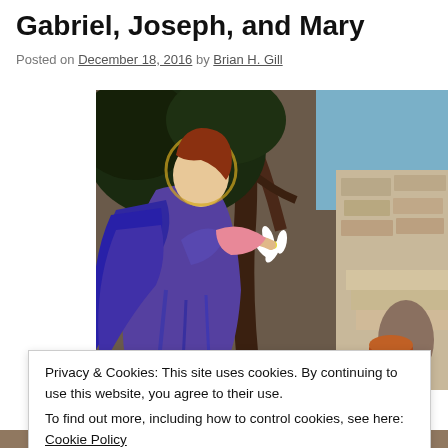Gabriel, Joseph, and Mary
Posted on December 18, 2016 by Brian H. Gill
[Figure (photo): Painting of an angel with large blue-purple wings holding white lily flowers, standing before a tree with stone steps and a seated figure in the background. Pre-Raphaelite style artwork depicting the Annunciation scene.]
Privacy & Cookies: This site uses cookies. By continuing to use this website, you agree to their use.
To find out more, including how to control cookies, see here: Cookie Policy
Close and accept